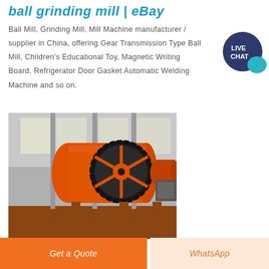ball grinding mill | eBay
Ball Mill, Grinding Mill, Mill Machine manufacturer / supplier in China, offering Gear Transmission Type Ball Mill, Children's Educational Toy, Magnetic Writing Board, Refrigerator Door Gasket Automatic Welding Machine and so on.
[Figure (photo): Industrial orange ball grinding mill machine in a factory/warehouse setting, showing a large horizontal cylindrical drum with a large black gear wheel on the side.]
Get a Quote
WhatsApp